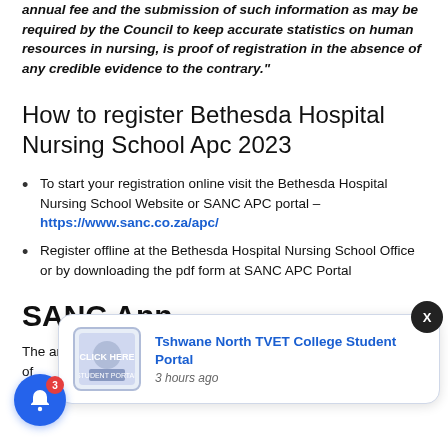annual fee and the submission of such information as may be required by the Council to keep accurate statistics on human resources in nursing, is proof of registration in the absence of any credible evidence to the contrary."
How to register Bethesda Hospital Nursing School Apc 2023
To start your registration online visit the Bethesda Hospital Nursing School Website or SANC APC portal – https://www.sanc.co.za/apc/
Register offline at the Bethesda Hospital Nursing School Office or by downloading the pdf form at SANC APC Portal
SANC Ann
The annual fees for the calendar year 2023 for different categories of